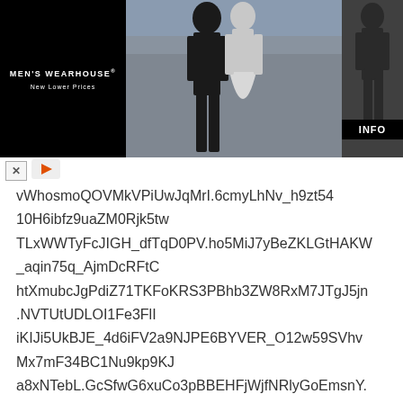[Figure (photo): Men's Wearhouse advertisement banner showing a couple in formal wedding attire and a man in a suit, with 'New Lower Prices' tagline and INFO button]
vWhosmoQOVMkVPiUwJqMrI.6cmyLhNv_h9zt54
10H6ibfz9uaZM0Rjk5tw
TLxWWTyFcJIGH_dfTqD0PV.ho5MiJ7yBeZKLGtHAKW_aqin75q_AjmDcRFtC
htXmubcJgPdiZ71TKFoKRS3PBhb3ZW8RxM7JTgJ5jn.NVTUtUDLOI1Fe3FlI
iKIJi5UkBJE_4d6iFV2a9NJPE6BYVER_O12w59SVhvMx7mF34BC1Nu9kp9KJ
a8xNTebL.GcSfwG6xuCo3pBBEHFjWjfNRlyGoEmsnY.bK4NZbhC26dDkKOAA
Zls3WX4NqZnmCEDYY7FHKNk3NUsDhlqTPKIrC5lyNq0TnqzU7RUMeijLh8rS